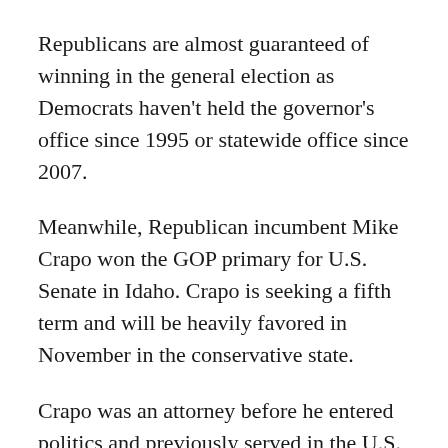Republicans are almost guaranteed of winning in the general election as Democrats haven't held the governor's office since 1995 or statewide office since 2007.
Meanwhile, Republican incumbent Mike Crapo won the GOP primary for U.S. Senate in Idaho. Crapo is seeking a fifth term and will be heavily favored in November in the conservative state.
Crapo was an attorney before he entered politics and previously served in the U.S. House and the Idaho Legislature. He is currently the ranking member of the Senate Finance Committee.
In the attorney general's race, five-term incumbent Lawrence Wasden — a former prosecutor backed by